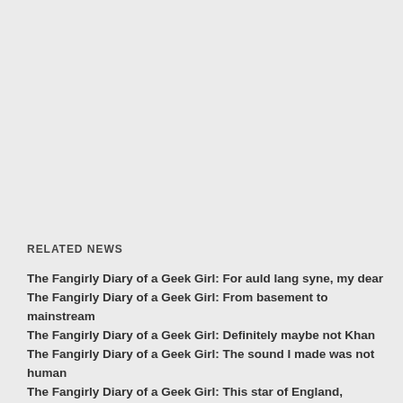RELATED NEWS
The Fangirly Diary of a Geek Girl: For auld lang syne, my dear
The Fangirly Diary of a Geek Girl: From basement to mainstream
The Fangirly Diary of a Geek Girl: Definitely maybe not Khan
The Fangirly Diary of a Geek Girl: The sound I made was not human
The Fangirly Diary of a Geek Girl: This star of England, Glamour